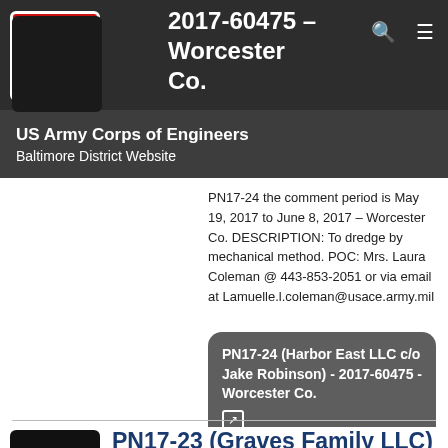2017-60475 - Worcester Co.
[Figure (logo): US Army Corps of Engineers castle logo in white on red background]
US Army Corps of Engineers Baltimore District Website
PN17-24 the comment period is May 19, 2017 to June 8, 2017 – Worcester Co. DESCRIPTION: To dredge by mechanical method. POC: Mrs. Laura Coleman @ 443-853-2051 or via email at Lamuelle.l.coleman@usace.army.mil
PN17-24 (Harbor East LLC c/o Jake Robinson) - 2017-60475 - Worcester Co. [external link]
PN17-23 (Graves Family LLC) - 2017-60204 - Talbot Co.